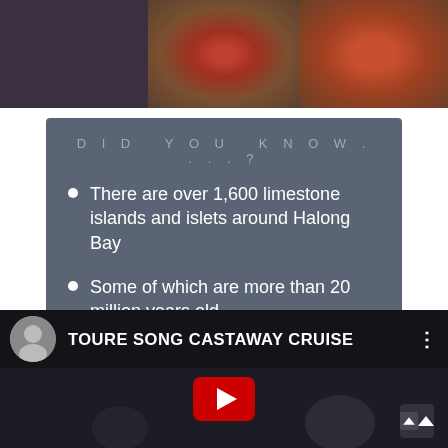[Figure (photo): Photo strip at top showing people, colorful floral clothing, dark background]
DID YOU KNOW....?
There are over 1,600 limestone islands and islets around Halong Bay
Some of which are more than 20 million years old
The average depth is only around 33ft
[Figure (screenshot): YouTube video embed showing TOURE SONG CASTAWAY CRUISE with play button and dark thumbnail]